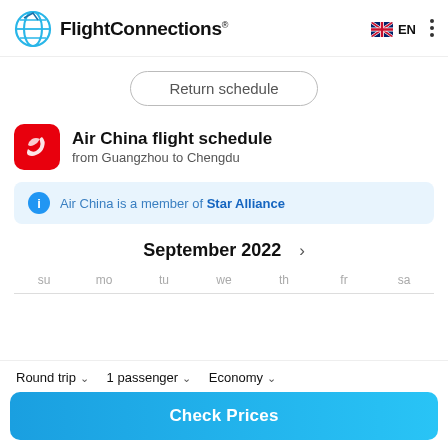FlightConnections® EN
Return schedule
Air China flight schedule
from Guangzhou to Chengdu
Air China is a member of Star Alliance
September 2022
su mo tu we th fr sa
Round trip  1 passenger  Economy
Check Prices